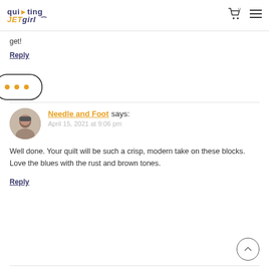quilting JET girl
get!
Reply
[Figure (other): Speech bubble with three orange dots (ellipsis), indicating a loading or pending comment]
Needle and Foot says:
April 15, 2021 at 9:06 pm
Well done. Your quilt will be such a crisp, modern take on these blocks. Love the blues with the rust and brown tones.
Reply